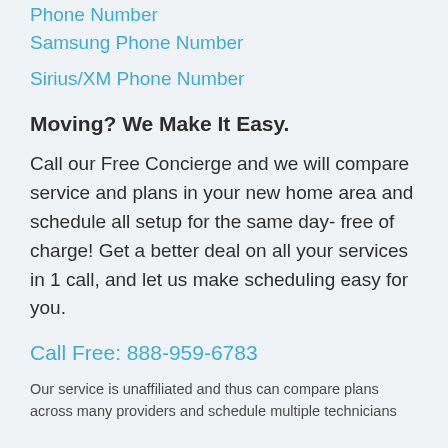Phone Number
Samsung Phone Number
Sirius/XM Phone Number
Moving? We Make It Easy.
Call our Free Concierge and we will compare service and plans in your new home area and schedule all setup for the same day- free of charge! Get a better deal on all your services in 1 call, and let us make scheduling easy for you.
Call Free: 888-959-6783
Our service is unaffiliated and thus can compare plans across many providers and schedule multiple technicians